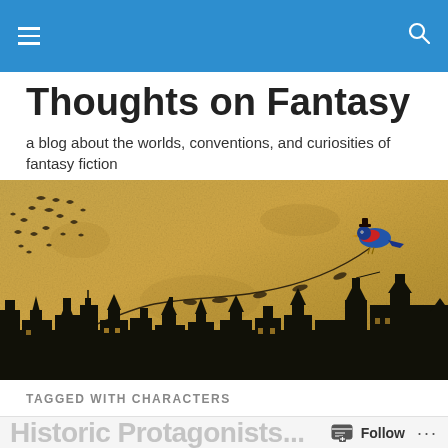Thoughts on Fantasy — blog header navigation bar
Thoughts on Fantasy
a blog about the worlds, conventions, and curiosities of fantasy fiction
[Figure (illustration): Fantasy-themed banner image with a parchment/aged paper background. A silhouette of a medieval town skyline with gothic buildings and towers fills the bottom. A colorful bird (blue and red) wearing a hat perches in the upper right, with a long flowing vine/branch extending from it. Flying birds (bats/crows) scatter in the upper left corner.]
TAGGED WITH CHARACTERS
Historic Protagonists...
Follow